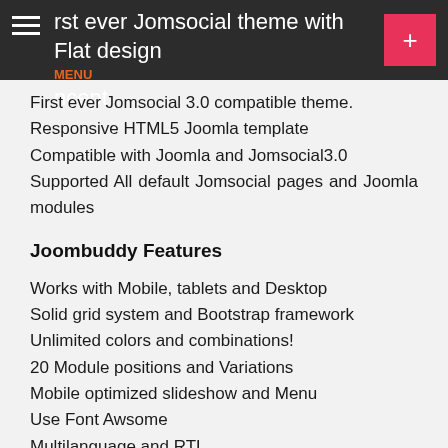First ever Jomsocial theme with Flat design concept
First ever Jomsocial 3.0 compatible theme.
Responsive HTML5 Joomla template
Compatible with Joomla and Jomsocial3.0
Supported All default Jomsocial pages and Joomla modules
Joombuddy Features
Works with Mobile, tablets and Desktop
Solid grid system and Bootstrap framework
Unlimited colors and combinations!
20 Module positions and Variations
Mobile optimized slideshow and Menu
Use Font Awsome
Multilanguage and RTL
Retina ready
Typography to style content
Google Fonts support